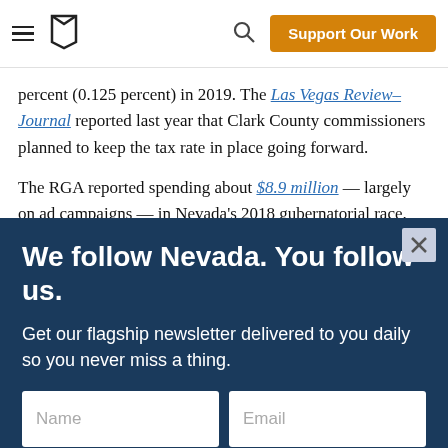Support Our Work
percent (0.125 percent) in 2019. The Las Vegas Review–Journal reported last year that Clark County commissioners planned to keep the tax rate in place going forward.
The RGA reported spending about $8.9 million — largely on ad campaigns — in Nevada's 2018 gubernatorial race.
We follow Nevada. You follow us.
Get our flagship newsletter delivered to you daily so you never miss a thing.
Yes! Sign Me Up
I am already a subscriber.